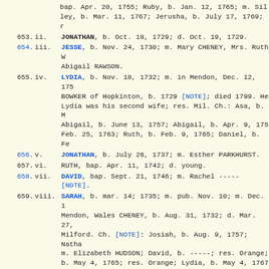bap. Apr. 20, 1755; Ruby, b. Jan. 12, 1765; m. Sila ley, b. Mar. 11, 1767; Jerusha, b. July 17, 1769; r
653. ii. JONATHAN, b. Oct. 18, 1729; d. Oct. 19, 1729.
654. iii. JESSE, b. Nov. 24, 1730; m. Mary CHENEY, Mrs. Ruth W Abigail RAWSON.
655. iv. LYDIA, b. Nov. 18, 1732; m. in Mendon, Dec. 12, 175 BOWKER of Hopkinton, b. 1729 [NOTE]; died 1799. He Lydia was his second wife; res. Mil. Ch.: Asa, b. M Abigail, b. June 13, 1757; Abigail, b. Apr. 9, 175 Feb. 25, 1763; Ruth, b. Feb. 9, 1765; Daniel, b. Fe
656. v. JONATHAN, b. July 26, 1737; m. Esther PARKHURST.
657. vi. RUTH, bap. Apr. 11, 1742; d. young.
658. vii. DAVID, bap. Sept. 21, 1746; m. Rachel ----- [NOTE].
659. viii. SARAH, b. mar. 14; 1735; m. pub. Nov. 10; m. Dec. 1 Mendon, Wales CHENEY, b. Aug. 31, 1732; d. Mar. 27 Milford. Ch. [NOTE]: Josiah, b. Aug. 9, 1757; Natha m. Elizabeth HUDSON; David, b. -----; res. Orange; b. May 4, 1765; res. Orange; Lydia, b. May 4, 1767 CORBETT; Asa, b. Dec. 20, 1769; m. Roxanna PITMAN; 26, 1771; Anna, b. Apr. 21, 1773; m. Otis BUTTERWOR b. Oct. 8, 1780; m. Lovice BOWKER and Mrs. Elizabet
219. ELIAS WHITNEY (Jonathan, Benjamin, John), b. Holliston [NOTE], 1716; m. Feb. 6, 1745, Elizabeth MELLEN, b. Aug. 21, 1721; m. 2d, at